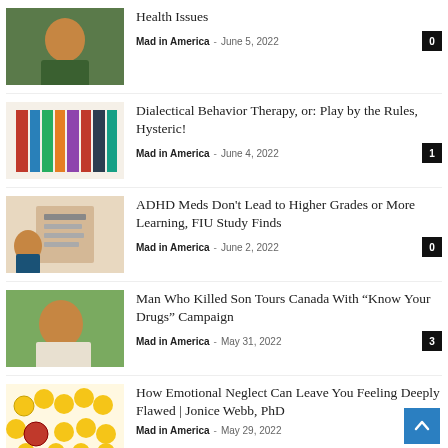[Figure (photo): Child in green sweatshirt outdoors]
Health Issues
Mad in America - June 5, 2022 | 0
[Figure (photo): Row of colorful books on a shelf]
Dialectical Behavior Therapy, or: Play by the Rules, Hysteric!
Mad in America - June 4, 2022 | 1
[Figure (photo): Child holding a patterned document/puzzle]
ADHD Meds Don't Lead to Higher Grades or More Learning, FIU Study Finds
Mad in America - June 2, 2022 | 0
[Figure (photo): Man sitting outdoors in a white shirt]
Man Who Killed Son Tours Canada With “Know Your Drugs” Campaign
Mad in America - May 31, 2022 | 3
[Figure (photo): Yellow smiley face balls with one red sad face]
How Emotional Neglect Can Leave You Feeling Deeply Flawed | Jonice Webb, PhD
Mad in America - May 29, 2022